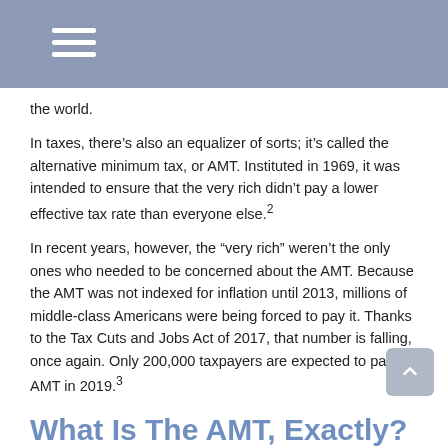the world.
In taxes, there’s also an equalizer of sorts; it’s called the alternative minimum tax, or AMT. Instituted in 1969, it was intended to ensure that the very rich didn’t pay a lower effective tax rate than everyone else.²
In recent years, however, the “very rich” weren’t the only ones who needed to be concerned about the AMT. Because the AMT was not indexed for inflation until 2013, millions of middle-class Americans were being forced to pay it. Thanks to the Tax Cuts and Jobs Act of 2017, that number is falling, once again. Only 200,000 taxpayers are expected to pay the AMT in 2019.³
What Is The AMT, Exactly?